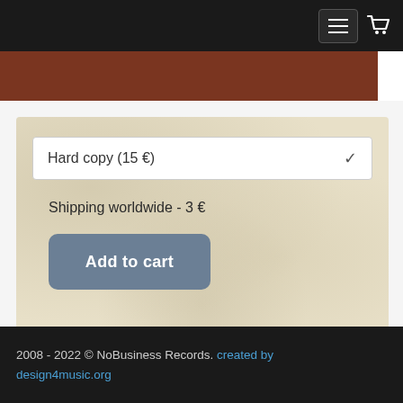Navigation bar with hamburger menu and cart icon
[Figure (screenshot): Brown banner strip at top of content area]
Hard copy (15 €)
Shipping worldwide - 3 €
Add to cart
2008 - 2022 © NoBusiness Records. created by design4music.org